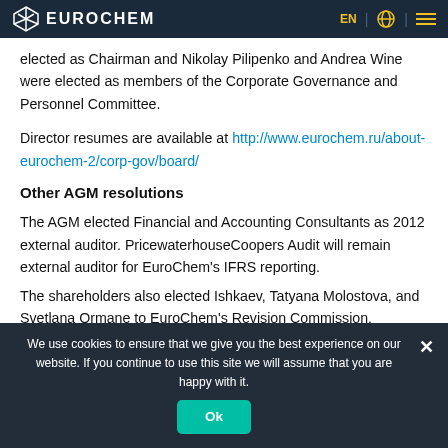EUROCHEM | EN
elected as Chairman and Nikolay Pilipenko and Andrea Wine were elected as members of the Corporate Governance and Personnel Committee.
Director resumes are available at http://www.eurochem.ru/about-eurochem-2/corp-gov/board/
Other AGM resolutions
The AGM elected Financial and Accounting Consultants as 2012 external auditor. PricewaterhouseCoopers Audit will remain external auditor for EuroChem's IFRS reporting.
The shareholders also elected Ishkaev, Tatyana Molostova, and Svetlana Ormane to EuroChem's Revision Commission.
We use cookies to ensure that we give you the best experience on our website. If you continue to use this site we will assume that you are happy with it.